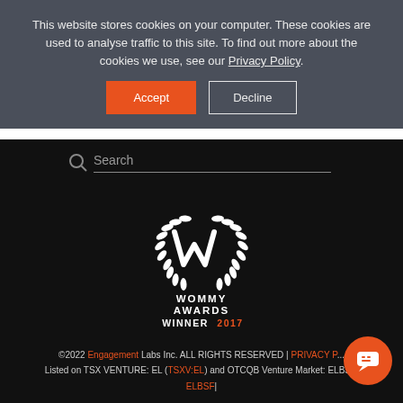This website stores cookies on your computer. These cookies are used to analyse traffic to this site. To find out more about the cookies we use, see our Privacy Policy.
Accept | Decline
[Figure (other): Search bar with magnifying glass icon and text input field with underline]
[Figure (logo): Wommy Awards Winner 2017 logo — circular laurel wreath with W lettermark, text: WOMMY AWARDS WINNER 2017]
©2022 Engagement Labs Inc. ALL RIGHTS RESERVED | PRIVACY P... Listed on TSX VENTURE: EL (TSXV:EL) and OTCQB Venture Market: ELBS... ELBSF|